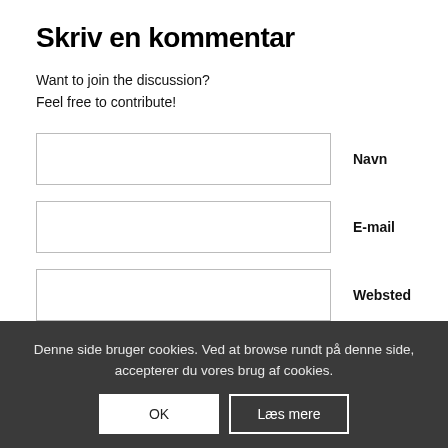Skriv en kommentar
Want to join the discussion?
Feel free to contribute!
Navn
E-mail
Websted
Denne side bruger cookies. Ved at browse rundt på denne side, accepterer du vores brug af cookies.
OK
Læs mere